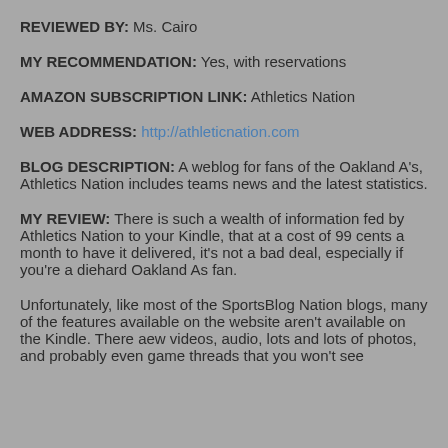REVIEWED BY: Ms. Cairo
MY RECOMMENDATION: Yes, with reservations
AMAZON SUBSCRIPTION LINK: Athletics Nation
WEB ADDRESS: http://athleticnation.com
BLOG DESCRIPTION: A weblog for fans of the Oakland A's, Athletics Nation includes teams news and the latest statistics.
MY REVIEW: There is such a wealth of information fed by Athletics Nation to your Kindle, that at a cost of 99 cents a month to have it delivered, it's not a bad deal, especially if you're a diehard Oakland As fan.
Unfortunately, like most of the SportsBlog Nation blogs, many of the features available on the website aren't available on the Kindle. There aew videos, audio, lots and lots of photos, and probably even game threads that you won't see